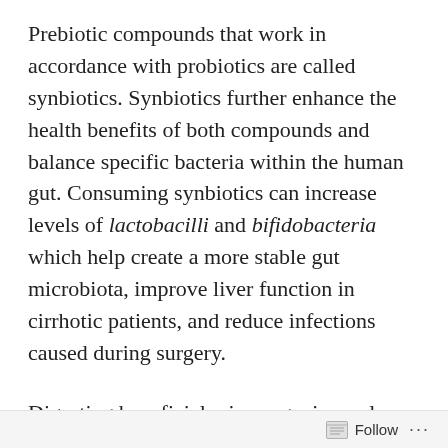Prebiotic compounds that work in accordance with probiotics are called synbiotics. Synbiotics further enhance the health benefits of both compounds and balance specific bacteria within the human gut. Consuming synbiotics can increase levels of lactobacilli and bifidobacteria which help create a more stable gut microbiota, improve liver function in cirrhotic patients, and reduce infections caused during surgery.
Digesting beneficial microorganisms plays a crucial role in creating a healthy microbial community. A healthy microbiome not only contributes to digestion but can also have...
Follow ...